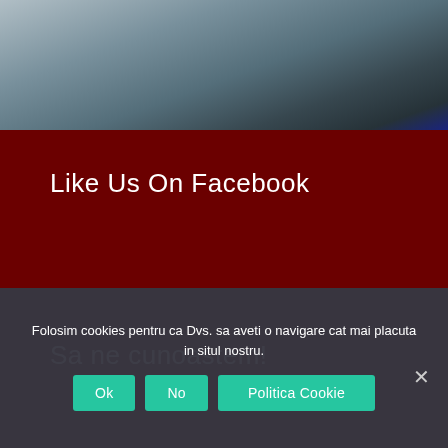[Figure (photo): Dark blue-grey stormy sky or water background photo at the top of the page]
Like Us On Facebook
Sa ne cunoastem!
Folosim cookies pentru ca Dvs. sa aveti o navigare cat mai placuta in situl nostru.
Ok | No | Politica Cookie